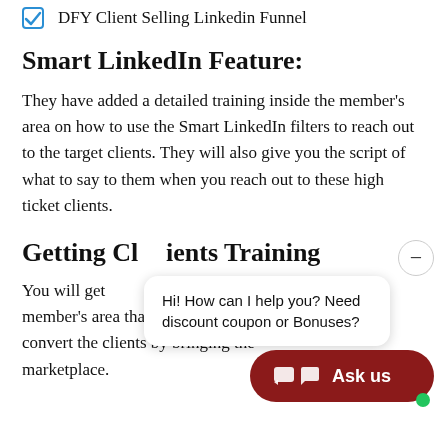DFY Client Selling Linkedin Funnel
Smart LinkedIn Feature:
They have added a detailed training inside the member's area on how to use the Smart LinkedIn filters to reach out to the target clients. They will also give you the script of what to say to them when you reach out to these high ticket clients.
Getting Clients Training
You will get … member's area that will teach you how to convert the clients by bringing them … marketplace.